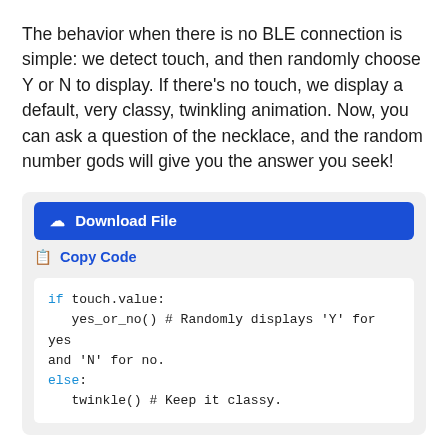The behavior when there is no BLE connection is simple: we detect touch, and then randomly choose Y or N to display. If there's no touch, we display a default, very classy, twinkling animation. Now, you can ask a question of the necklace, and the random number gods will give you the answer you seek!
[Figure (screenshot): A code snippet panel with a blue 'Download File' button, a 'Copy Code' link, and a white code block showing Python code: if touch.value: yes_or_no() # Randomly displays 'Y' for yes and 'N' for no. else: twinkle() # Keep it classy.]